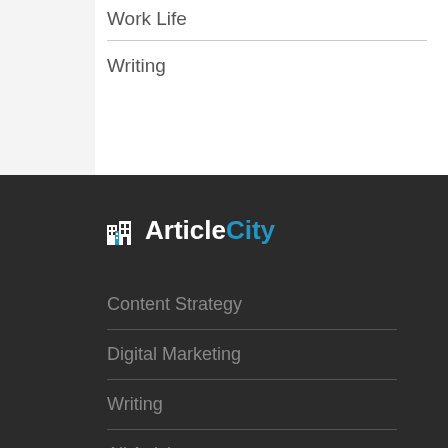Work Life
Writing
[Figure (logo): ArticleCity logo with building icon, white 'Article' text and blue 'City' text on dark background]
Content Strategy
Digital Marketing
Writing
All Articles
Top